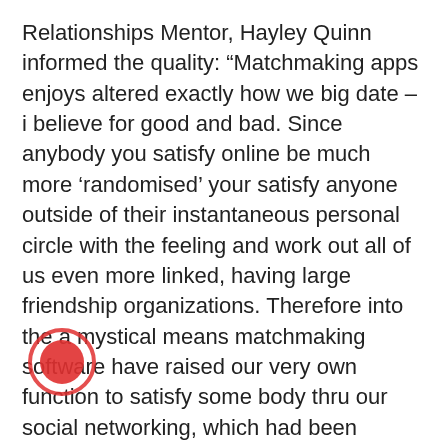Relationships Mentor, Hayley Quinn informed the quality: “Matchmaking apps enjoys altered exactly how we big date – i believe for good and bad. Since anybody you satisfy online be much more ‘randomised’ your satisfy anyone outside of their instantaneous personal circle with the feeling and work out all of us even more linked, having large friendship organizations. Therefore into the a mystical means matchmaking software have raised our very own function to satisfy some body thru our social networking, which had been generally the fresh dominating way people fulfilled.
“However with all of the observed choices that’s on the ‘dating market’ everyone is providing prolonged so you can going, and are generally distinctly so much more ‘flakey’ with regards to conference up. You should remember to look out for someone on line which have a look happy to fulfill IRL in place of are simply a tremendously cranny
[Figure (other): Red circle annotation marker overlaid on the text]